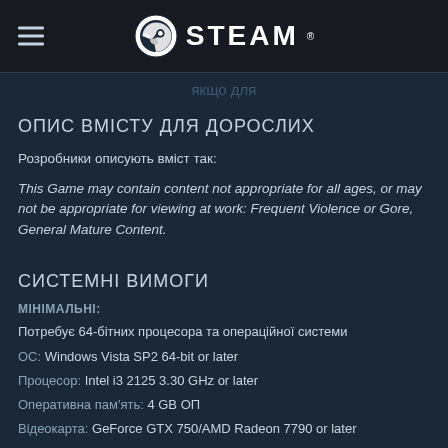STEAM
якщо для
ОПИС ВМІСТУ ДЛЯ ДОРОСЛИХ
Розробники описують вміст так:
This Game may contain content not appropriate for all ages, or may not be appropriate for viewing at work: Frequent Violence or Gore, General Mature Content.
СИСТЕМНІ ВИМОГИ
МІНІМАЛЬНІ:
Потребує 64-бітних процесора та операційної системи
ОС:  Windows Vista SP2 64-bit or later
Процесор:  Intel i3 2125 3.30 GHz or later
Оперативна пам'ять:  4 GB ОП
Відеокарта:  GeForce GTX 750/AMD Radeon 7790 or later